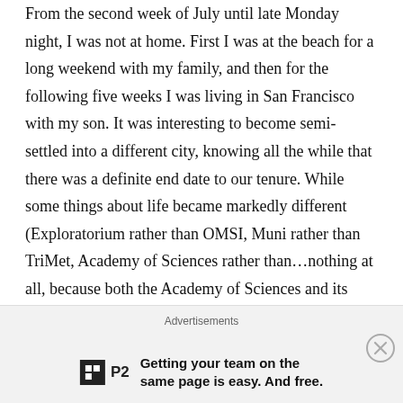From the second week of July until late Monday night, I was not at home. First I was at the beach for a long weekend with my family, and then for the following five weeks I was living in San Francisco with my son. It was interesting to become semi-settled into a different city, knowing all the while that there was a definite end date to our tenure. While some things about life became markedly different (Exploratorium rather than OMSI, Muni rather than TriMet, Academy of Sciences rather than…nothing at all, because both the Academy of Sciences and its home of Golden Gate Park have absolutely no counterparts in the city of Portland), others stayed remarkably similar. I still cooked most of our meals at home, I still grocery shopped for local produce whenever possible, and I still
Advertisements — Getting your team on the same page is easy. And free.